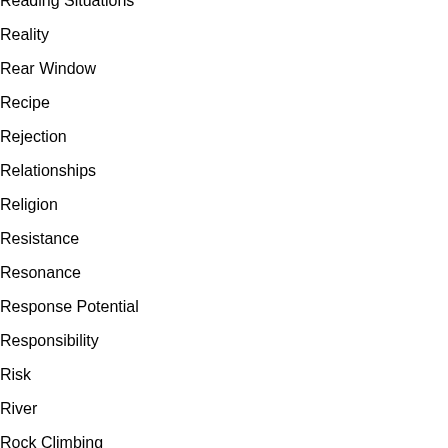Reading Situations
Reality
Rear Window
Recipe
Rejection
Relationships
Religion
Resistance
Resonance
Response Potential
Responsibility
Risk
River
Rock Climbing